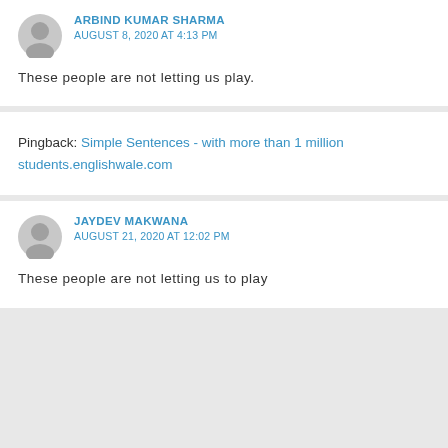ARBIND KUMAR SHARMA
AUGUST 8, 2020 AT 4:13 PM
These people are not letting us play.
Pingback: Simple Sentences - with more than 1 million students.englishwale.com
JAYDEV MAKWANA
AUGUST 21, 2020 AT 12:02 PM
These people are not letting us to play